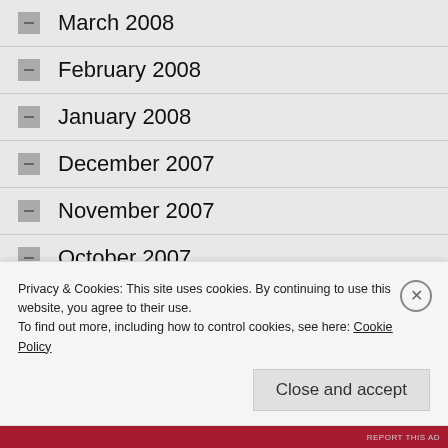March 2008
February 2008
January 2008
December 2007
November 2007
October 2007
September 2007
August 2007
Privacy & Cookies: This site uses cookies. By continuing to use this website, you agree to their use.
To find out more, including how to control cookies, see here: Cookie Policy
Close and accept